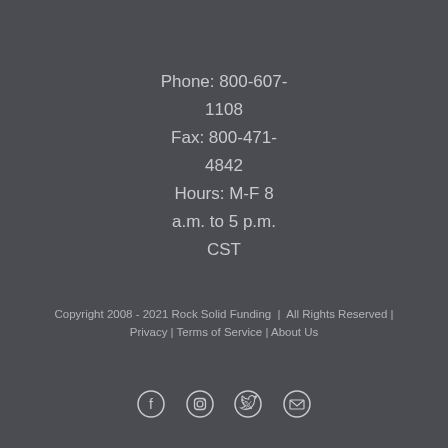Phone: 800-607-1108
Fax: 800-471-4842
Hours: M-F 8 a.m. to 5 p.m. CST
Copyright 2008 - 2021 Rock Solid Funding  |  All Rights Reserved | Privacy | Terms of Service | About Us
[Figure (other): Social media icons: Facebook, Instagram, Twitter, Email]